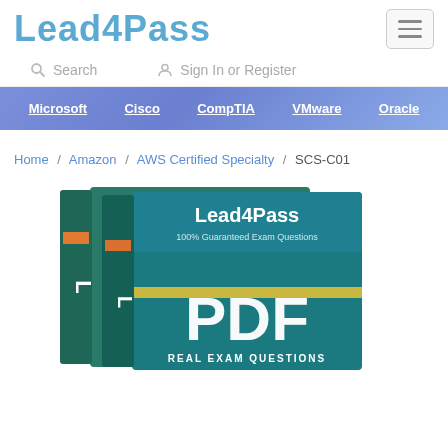Lead4Pass
Search | Sign In or Register
Microsoft | Cisco | CompTIA | VMware | Oracle
Home / Amazon / AWS Certified Specialty / SCS-C01
[Figure (photo): Lead4Pass exam preparation PDF product box showing 'Lead4Pass 100% Guaranteed Exam Questions PDF REAL EXAM QUESTIONS' in teal/green color scheme with gold stripe]